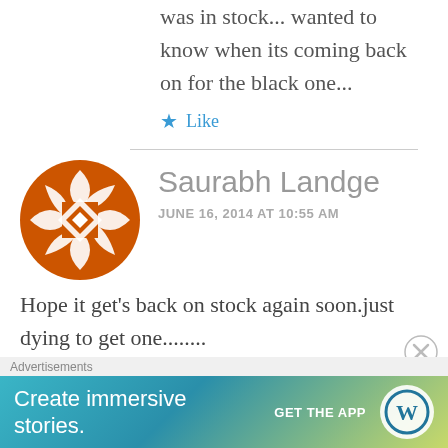was in stock... wanted to know when its coming back on for the black one...
Like
Saurabh Landge
JUNE 16, 2014 AT 10:55 AM
Hope it get's back on stock again soon.just dying to get one........
[Figure (logo): Orange decorative avatar icon for Saurabh Landge]
Advertisements
[Figure (screenshot): WordPress app advertisement banner: 'Create immersive stories. GET THE APP' with WordPress logo]